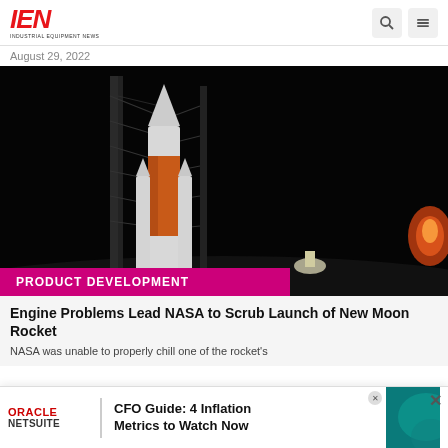IEN — Industrial Equipment News
August 29, 2022
[Figure (photo): NASA SLS rocket on the launch pad at night, illuminated against a dark sky, with an orange core stage visible on the launch structure.]
PRODUCT DEVELOPMENT
Engine Problems Lead NASA to Scrub Launch of New Moon Rocket
NASA was unable to properly chill one of the rocket's
[Figure (other): Oracle NetSuite advertisement banner: CFO Guide: 4 Inflation Metrics to Watch Now]